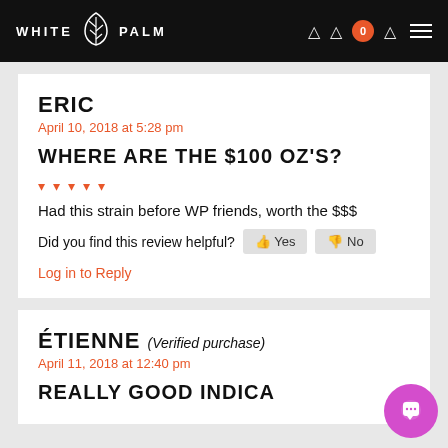WHITE PALM
ERIC
April 10, 2018 at 5:28 pm
WHERE ARE THE $100 OZ'S?
★★★★★
Had this strain before WP friends, worth the $$$
Did you find this review helpful? 👍 Yes  👎 No
Log in to Reply
ÉTIENNE (Verified purchase)
April 11, 2018 at 12:40 pm
REALLY GOOD INDICA